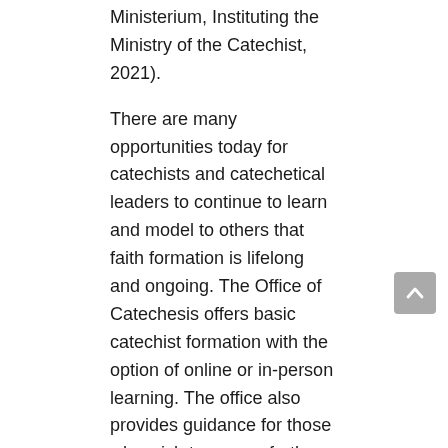Ministerium, Instituting the Ministry of the Catechist, 2021).
There are many opportunities today for catechists and catechetical leaders to continue to learn and model to others that faith formation is lifelong and ongoing. The Office of Catechesis offers basic catechist formation with the option of online or in-person learning. The office also provides guidance for those who wish to pursue further theological education that is especially needed for catechetical leadership. Financial support is available through a variety of sources, e.g., Heritage Education Scholarships.
Pope Francis emphasizes the vocation of the catechist, saying, “Catechesis is a vocation: being a catechist, this is the vocation, not working as a catechist. So keep this in mind, I didn’t say to do the work of catechists, but to be catechists.